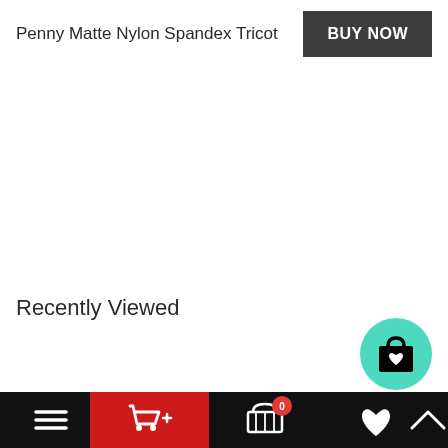Penny Matte Nylon Spandex Tricot
BUY NOW
Recently Viewed
[Figure (screenshot): Teal circular floating action button with shopping bag and heart icon]
[Figure (screenshot): Black bottom navigation bar with hamburger menu, red cart icon section, basket with badge showing 0, heart icon, and up arrow icon]